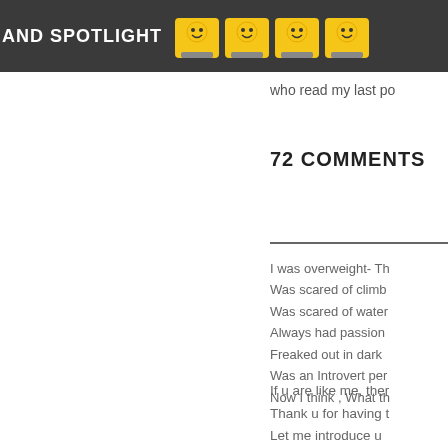AND SPOTLIGHT
who read my last po
72 COMMENTS
Let me introduce u
n
I was overweight- Th
Was scared of climb
Was scared of water
Always had passion
Freaked out in dark
Was an Introvert per
Now I think , What th
If u are like me, ther
Thank u for having t